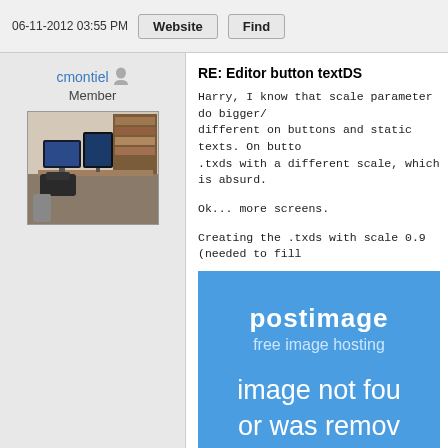06-11-2012 03:55 PM   Website   Find
cmontiel Member
[Figure (photo): User avatar photo showing a computer desk setup with monitors and bookshelves]
RE: Editor button textDS
Harry, I know that scale parameter do bigger/different on buttons and static texts. On butto .txds with a different scale, which is absurd.
Ok... more screens.
Creating the .txds with scale 0.9 (needed to fill
[Figure (screenshot): Postimage.org placeholder showing 'postimage free image hosting image not found or was removed']